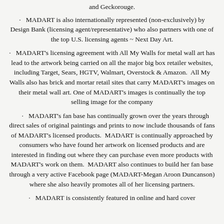and Geckorouge.
MADART is also internationally represented (non-exclusively) by Design Bank (licensing agent/representative) who also partners with one of the top U.S. licensing agents ~ Next Day Art.
MADART’s licensing agreement with All My Walls for metal wall art has lead to the artwork being carried on all the major big box retailer websites, including Target, Sears, HGTV, Walmart, Overstock & Amazon.  All My Walls also has brick and mortar retail sites that carry MADART’s images on their metal wall art. One of MADART’s images is continually the top selling image for the company
MADART’s fan base has continually grown over the years through direct sales of original paintings and prints to now include thousands of fans of MADART’s licensed products.  MADART is continually approached by consumers who have found her artwork on licensed products and are interested in finding out where they can purchase even more products with MADART’s work on them.  MADART also continues to build her fan base through a very active Facebook page (MADART-Megan Aroon Duncanson) where she also heavily promotes all of her licensing partners.
MADART is consistently featured in online and hard cover